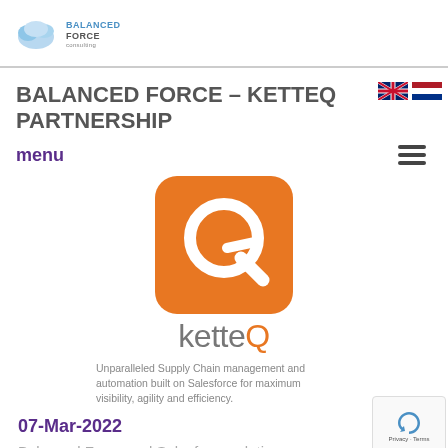BALANCED FORCE
BALANCED FORCE – KETTEQ PARTNERSHIP
menu
[Figure (logo): ketteQ logo: orange rounded square with white Q arrow icon, and 'ketteQ' wordmark in gray/orange text below. Tagline: Unparalleled Supply Chain management and automation built on Salesforce for maximum visibility, agility and efficiency.]
Unparalleled Supply Chain management and automation built on Salesforce for maximum visibility, agility and efficiency.
07-Mar-2022
Balanced Force and Salesforce relation...